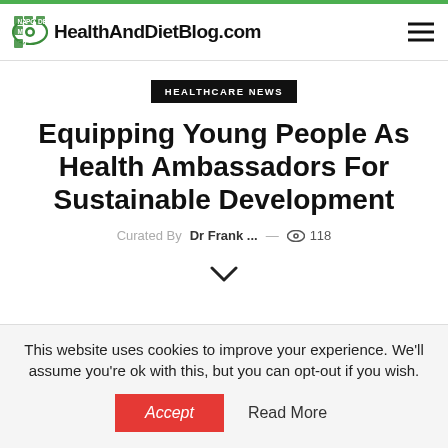HealthAndDietBlog.com
HEALTHCARE NEWS
Equipping Young People As Health Ambassadors For Sustainable Development
Curated By Dr Frank ... — 118 views
This website uses cookies to improve your experience. We'll assume you're ok with this, but you can opt-out if you wish.
Accept   Read More